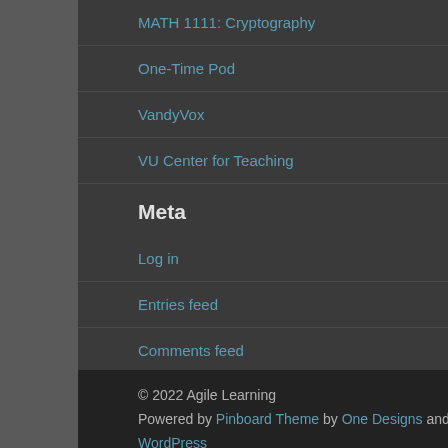MATH 1111: Cryptography
One-Time Pod
VandyVox
VU Center for Teaching
Meta
Log in
Entries feed
Comments feed
WordPress.org
© 2022 Agile Learning
Powered by Pinboard Theme by One Designs and WordPress